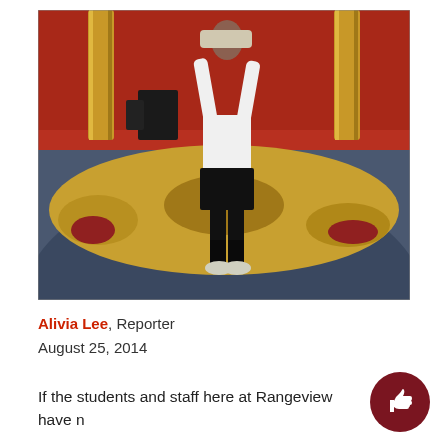[Figure (photo): A person wearing a white shirt and black shorts stands in a large hall with red walls and decorative yellow/gold carpet, holding something overhead. The floor in the foreground is blue/grey.]
Alivia Lee, Reporter
August 25, 2014
If the students and staff here at Rangeview have n